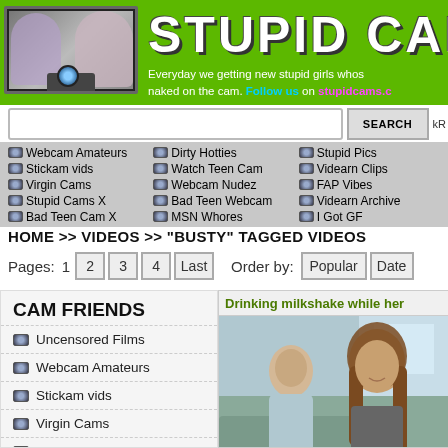STUPID CAM - Everyday we getting new stupid girls whos naked on the cam. Follow us on stupidcams.c
SEARCH kR
Webcam Amateurs
Dirty Hotties
Stupid Pics
Watch Teen Cam
Videarn Clips
Stickam vids
Webcam Nudez
FAP Vibes
Virgin Cams
Bad Teen Webcam
Videarn Archive
Stupid Cams X
MSN Whores
I Got GF
Bad Teen Cam X
HOME >> VIDEOS >> "BUSTY" TAGGED VIDEOS
Pages: 1 2 3 4 Last   Order by: Popular Date
CAM FRIENDS
Uncensored Films
Webcam Amateurs
Stickam vids
Virgin Cams
Stupid Cams X
Bad Teen Cam X
Teen FuckRX
Drinking milkshake while her
[Figure (photo): Two people sitting, a man and a woman with long brown hair smiling]
10:00   2014-11-19
Posted: begi   Report
Tags: amateur, beauty, blowjob